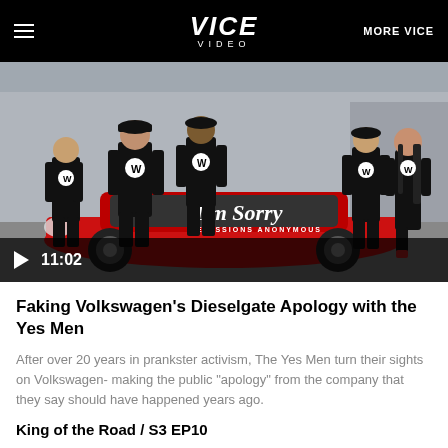VICE VIDEO | MORE VICE
[Figure (screenshot): Video thumbnail showing people in black VW t-shirts with 'I'm Sorry' and 'Emissions Anonymous' text standing around a red Volkswagen Beetle convertible. Play button overlay showing duration 11:02.]
Faking Volkswagen's Dieselgate Apology with the Yes Men
After over 20 years in prankster activism, The Yes Men turn their sights on Volkswagen- making the public "apology" from the company that they say should have happened years ago.
King of the Road / S3 EP10